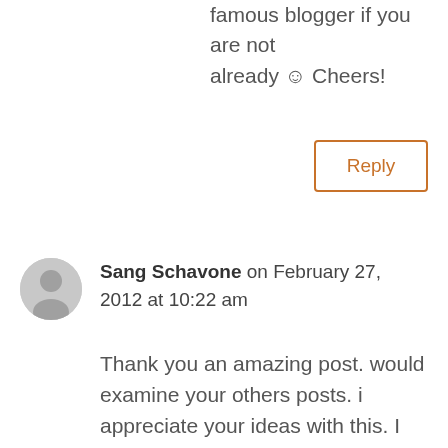famous blogger if you are not already ☺ Cheers!
Reply
Sang Schavone on February 27, 2012 at 10:22 am
Thank you an amazing post. would examine your others posts. i appreciate your ideas with this. I experienced a bit thump by this short article. Thanks again! You make a good moment. Got some wonderful report here. I believe if more people thought of it like this,